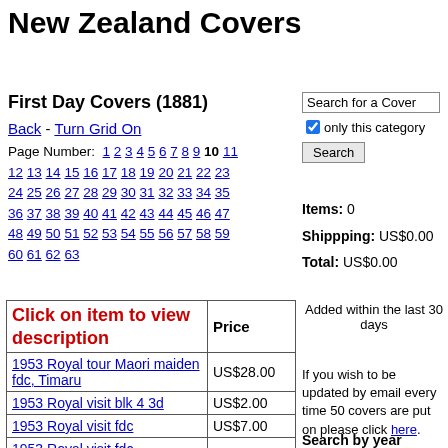New Zealand Covers
First Day Covers (1881)
Back - Turn Grid On
Page Number: 1 2 3 4 5 6 7 8 9 10 11 12 13 14 15 16 17 18 19 20 21 22 23 24 25 26 27 28 29 30 31 32 33 34 35 36 37 38 39 40 41 42 43 44 45 46 47 48 49 50 51 52 53 54 55 56 57 58 59 60 61 62 63
Search for a Cover
only this category
Search
Items: 0
Shippping: US$0.00
Total: US$0.00
| Click on item to view description | Price |
| --- | --- |
| 1953 Royal tour Maori maiden fdc, Timaru | US$28.00 |
| 1953 Royal visit blk 4 3d | US$2.00 |
| 1953 Royal visit fdc | US$7.00 |
| 1953 Royal visit fdc Christchurch | US$7.00 |
Added within the last 30 days
If you wish to be updated by email every time 50 covers are put on please click here.
Search by year